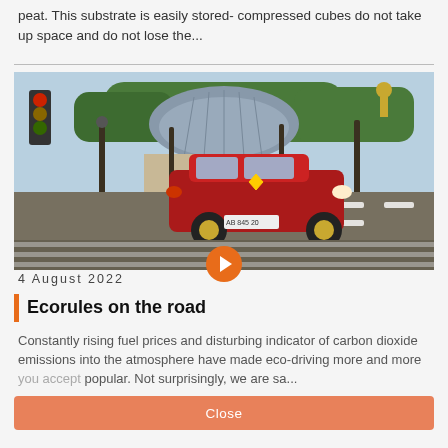peat. This substrate is easily stored- compressed cubes do not take up space and do not lose the...
[Figure (photo): A red Renault Clio driving on a road in Paris near the Grand Palais, with ornate lamp posts and trees in the background.]
4 August 2022
Ecorules on the road
Constantly rising fuel prices and disturbing indicator of carbon dioxide emissions into the atmosphere have made eco-driving more and more popular. Not surprisingly, we are sa...
Close